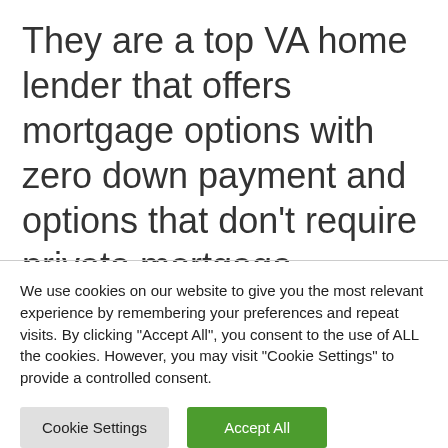They are a top VA home lender that offers mortgage options with zero down payment and options that don't require private mortgage insurance. Which helps you save money each
We use cookies on our website to give you the most relevant experience by remembering your preferences and repeat visits. By clicking "Accept All", you consent to the use of ALL the cookies. However, you may visit "Cookie Settings" to provide a controlled consent.